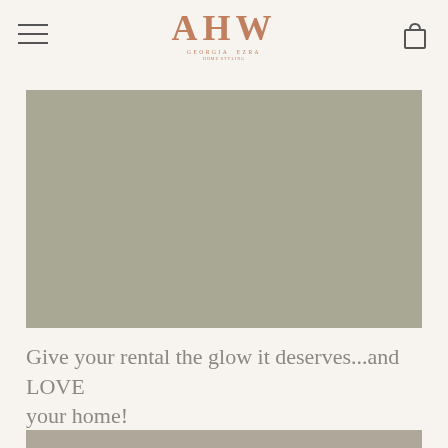AHW GEORGIA EZRA
[Figure (photo): Large gray-green rectangular image placeholder, top portion of a home interior photo]
Give your rental the glow it deserves...and LOVE your home!
[Figure (photo): Partial gray-brown rectangular image, bottom of page, cropped interior photo]